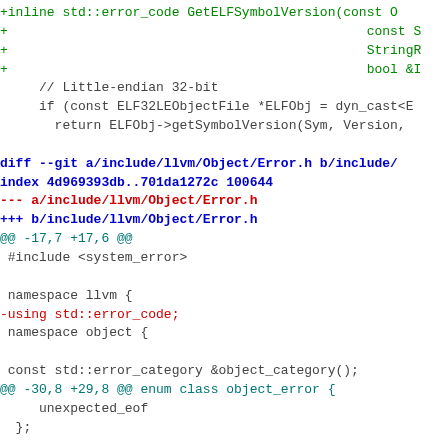Code diff showing changes to ELF symbol version and LLVM Object Error header files